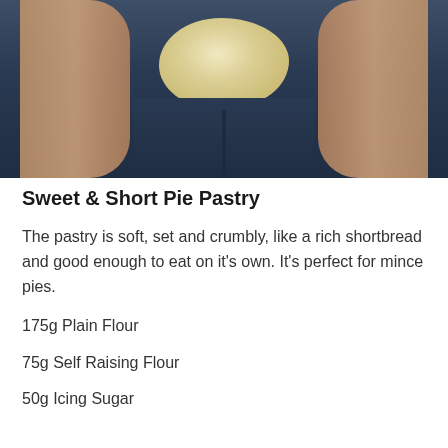[Figure (photo): Hands holding a ball of pastry dough against a dark blue jeans background]
Sweet & Short Pie Pastry
The pastry is soft, set and crumbly, like a rich shortbread and good enough to eat on it's own. It's perfect for mince pies.
175g Plain Flour
75g Self Raising Flour
50g Icing Sugar